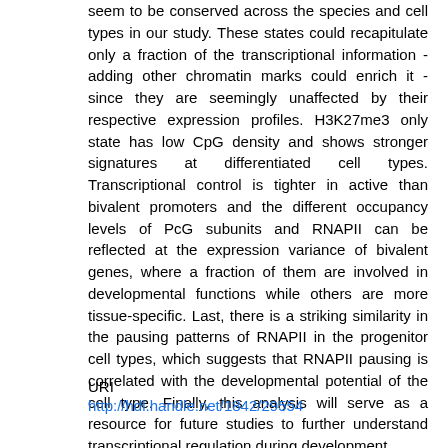seem to be conserved across the species and cell types in our study. These states could recapitulate only a fraction of the transcriptional information - adding other chromatin marks could enrich it - since they are seemingly unaffected by their respective expression profiles. H3K27me3 only state has low CpG density and shows stronger signatures at differentiated cell types. Transcriptional control is tighter in active than bivalent promoters and the different occupancy levels of PcG subunits and RNAPII can be reflected at the expression variance of bivalent genes, where a fraction of them are involved in developmental functions while others are more tissue-specific. Last, there is a striking similarity in the pausing patterns of RNAPII in the progenitor cell types, which suggests that RNAPII pausing is correlated with the developmental potential of the cell type. Finally, this analysis will serve as a resource for future studies to further understand transcriptional regulation during development.
URI
http://hdl.handle.net/1842/29554